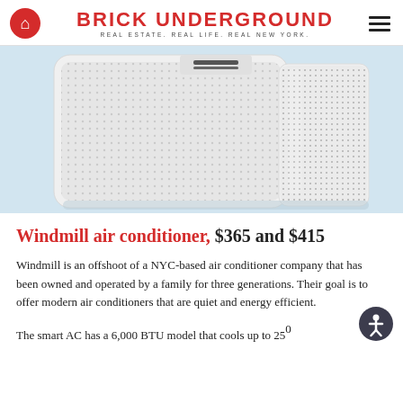BRICK UNDERGROUND — REAL ESTATE. REAL LIFE. REAL NEW YORK.
[Figure (photo): Close-up photo of a white Windmill air conditioner unit showing its textured front grille and side vents against a light blue background]
Windmill air conditioner, $365 and $415
Windmill is an offshoot of a NYC-based air conditioner company that has been owned and operated by a family for three generations. Their goal is to offer modern air conditioners that are quiet and energy efficient.
The smart AC has a 6,000 BTU model that cools up to 250...